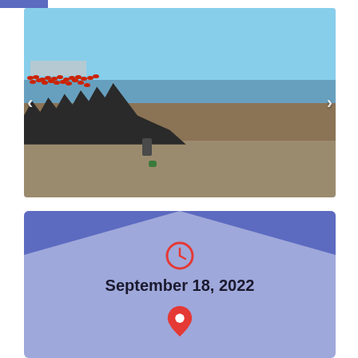[Figure (photo): Outdoor triathlon swim start at a beach. A large crowd of participants wearing red swim caps and wetsuits stand at the water's edge. A single person walks on sandy beach in foreground with a green bag on the ground. Water and blue sky with clouds visible. Navigation arrows on left and right sides of the carousel.]
[Figure (infographic): Event info card with blue/purple background featuring two chevron/triangle shapes at top. Contains a red clock icon, bold date text 'September 18, 2022', and a red map pin icon at the bottom.]
September 18, 2022